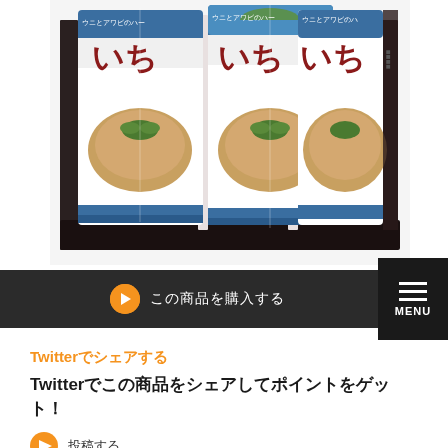[Figure (photo): Three Japanese canned food products (いち煮 - ichini) in a gift box, showing cans with coastal scenery labels and seafood (uni and abalone) dish images. Labels read ウニとアワビのハー and いち煮.]
→ （日本語テキスト）
Twitterでシェアする
Twitterでこの商品をシェアしてポイントをゲット！
投稿する